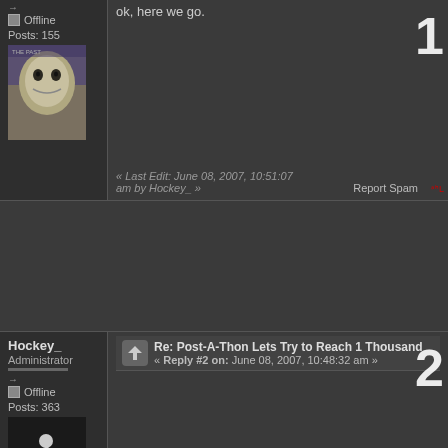ok, here we go.
Offline
Posts: 155
[Figure (photo): User avatar showing a seal or sea lion with a blueish background]
« Last Edit: June 08, 2007, 10:51:07 am by Hockey_ »
Report Spam
Hockey_
Administrator
Re: Post-A-Thon Lets Try to Reach 1 Thousand
« Reply #2 on: June 08, 2007, 10:48:32 am »
Offline
Posts: 363
[Figure (photo): User avatar showing a silhouette figure/character]
« Last Edit: June 08, 2007, 10:51:17 am by Hockey_ »
Report Spam